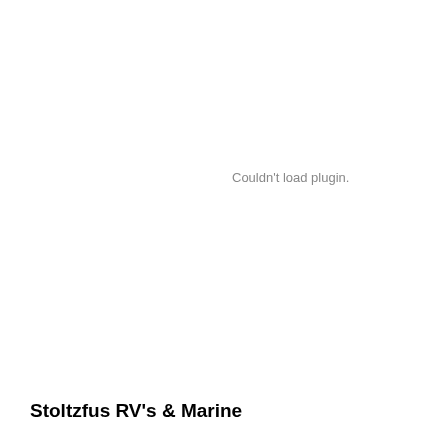Couldn't load plugin.
Stoltzfus RV's & Marine